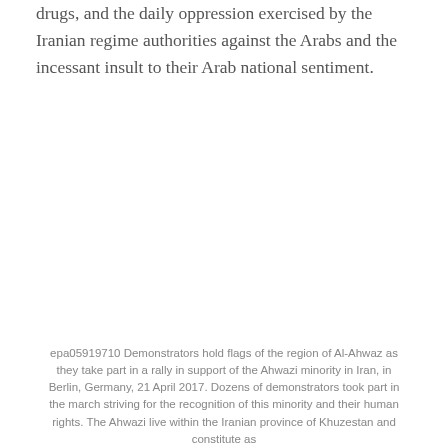drugs, and the daily oppression exercised by the Iranian regime authorities against the Arabs and the incessant insult to their Arab national sentiment.
epa05919710 Demonstrators hold flags of the region of Al-Ahwaz as they take part in a rally in support of the Ahwazi minority in Iran, in Berlin, Germany, 21 April 2017. Dozens of demonstrators took part in the march striving for the recognition of this minority and their human rights. The Ahwazi live within the Iranian province of Khuzestan and constitute as